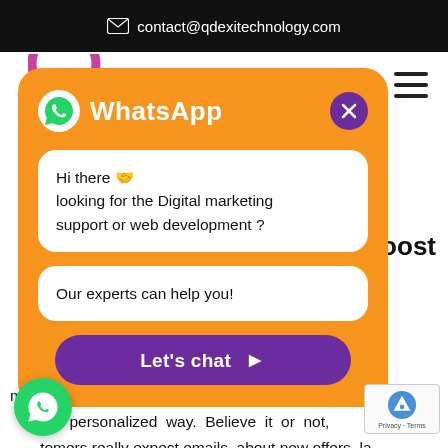contact@qdexitechnology.com
[Figure (screenshot): WhatsApp chat widget popup on a website. Orange rounded rectangle modal with WhatsApp logo and title, a message bubble saying 'Hi there 👋 looking for the Digital marketing support or web development ?', a second bubble saying 'Our experts can help you!', and a purple 'Let's chat ➤' button. Background shows partial website text about company services and email marketing.]